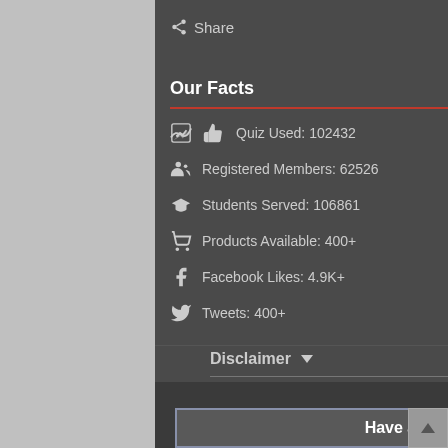Share
Our Facts
Quiz Used: 102432
Registered Members: 62526
Students Served: 106861
Products Available: 400+
Facebook Likes: 4.9K+
Tweets: 400+
Disclaimer
© 1998-2022 PharmacyExam.com All rights reserved.
Have a question? Email US.